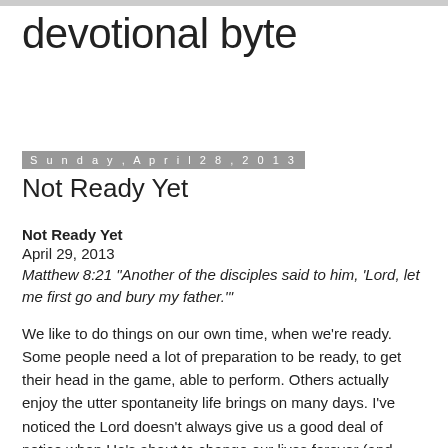devotional byte
Sunday, April 28, 2013
Not Ready Yet
Not Ready Yet
April 29, 2013
Matthew 8:21  "Another of the disciples said to him, 'Lord, let me first go and bury my father.'"

We like to do things on our own time, when we're ready. Some people need a lot of preparation to be ready, to get their head in the game, able to perform.  Others actually enjoy the utter spontaneity life brings on many days.  I've noticed the Lord doesn't always give us a good deal of notice when He's about to change our lives forever (and rarely does